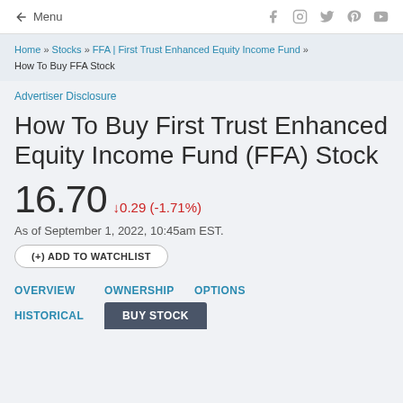← Menu | f instagram twitter pinterest youtube
Home » Stocks » FFA | First Trust Enhanced Equity Income Fund » How To Buy FFA Stock
Advertiser Disclosure
How To Buy First Trust Enhanced Equity Income Fund (FFA) Stock
16.70 ↓0.29 (-1.71%)
As of September 1, 2022, 10:45am EST.
(+) ADD TO WATCHLIST
OVERVIEW    OWNERSHIP    OPTIONS
HISTORICAL    BUY STOCK